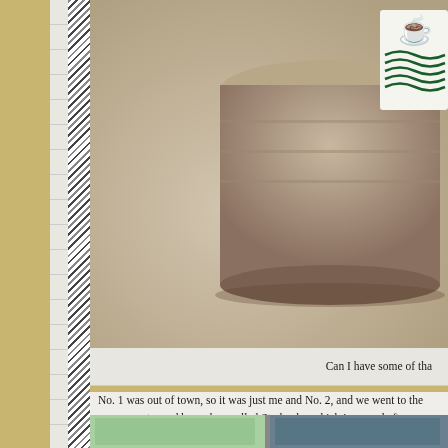[Figure (photo): Close-up photo of a Starbucks cup/mug on a table surface, showing the green Starbucks logo/siren on a white cup]
Can I have some of tha
No. 1 was out of town, so it was just me and No. 2, and we went to the groce... we stopped by a place called Starbucks, which is named after one of the gues... his favorite drink, a Double Chocolatey Chip Frappacino. I wanted some, bu... not good for dogs, so I didn't get any. He didn't even have the decency to ge... have a lick of. Hmph.
Then we started driving again. I remember going around a corner, and then a
[Figure (photo): Partial thumbnail photos at bottom of page]